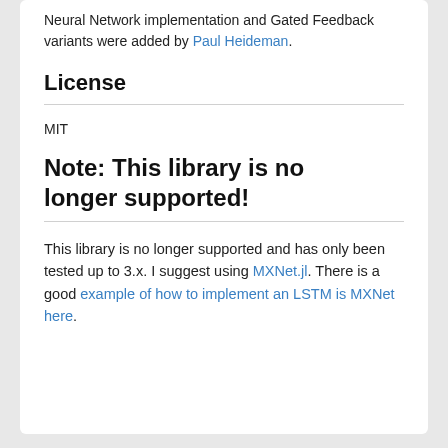Neural Network implementation and Gated Feedback variants were added by Paul Heideman.
License
MIT
Note: This library is no longer supported!
This library is no longer supported and has only been tested up to 3.x. I suggest using MXNet.jl. There is a good example of how to implement an LSTM is MXNet here.